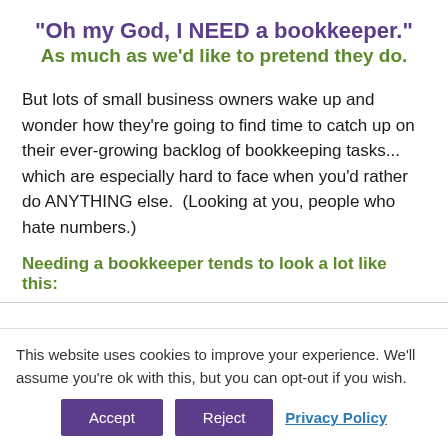“Oh my God, I NEED a bookkeeper.”
As much as we’d like to pretend they do.
But lots of small business owners wake up and wonder how they’re going to find time to catch up on their ever-growing backlog of bookkeeping tasks... which are especially hard to face when you’d rather do ANYTHING else.  (Looking at you, people who hate numbers.)
Needing a bookkeeper tends to look a lot like this:
This website uses cookies to improve your experience. We’ll assume you’re ok with this, but you can opt-out if you wish.
Accept | Reject | Privacy Policy